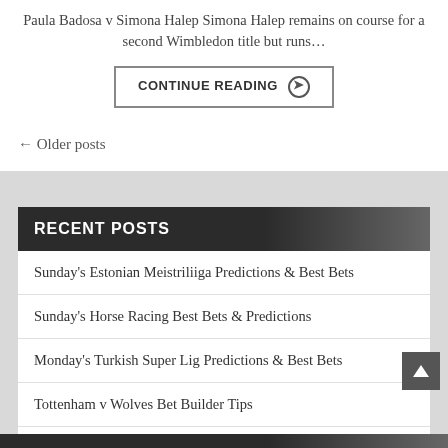Paula Badosa v Simona Halep Simona Halep remains on course for a second Wimbledon title but runs…
CONTINUE READING ❯
← Older posts
RECENT POSTS
Sunday's Estonian Meistriliiga Predictions & Best Bets
Sunday's Horse Racing Best Bets & Predictions
Monday's Turkish Super Lig Predictions & Best Bets
Tottenham v Wolves Bet Builder Tips
Bournemouth v Arsenal Bet Builder Tips